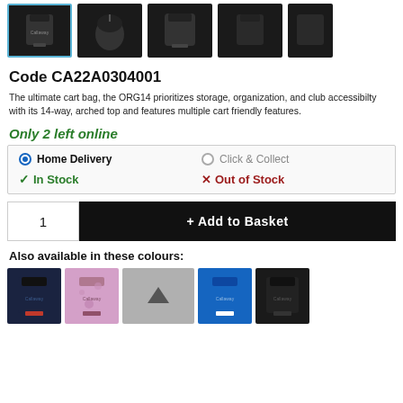[Figure (photo): Row of product thumbnail images showing a black Callaway ORG14 golf cart bag from multiple angles. The first thumbnail is selected with a blue border.]
Code CA22A0304001
The ultimate cart bag, the ORG14 prioritizes storage, organization, and club accessibilty with its 14-way, arched top and features multiple cart friendly features.
Only 2 left online
Home Delivery  Click & Collect
✓ In Stock  ✗ Out of Stock
1  + Add to Basket
Also available in these colours:
[Figure (photo): Row of small thumbnail images of the same golf bag in different colours: navy/red, pink camo, dark grey/red, blue/white, and black.]